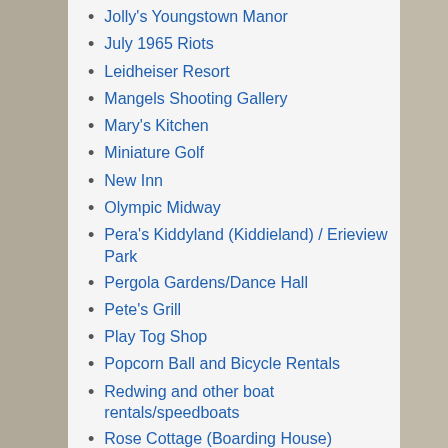Jolly's Youngstown Manor
July 1965 Riots
Leidheiser Resort
Mangels Shooting Gallery
Mary's Kitchen
Miniature Golf
New Inn
Olympic Midway
Pera's Kiddyland (Kiddieland) / Erieview Park
Pergola Gardens/Dance Hall
Pete's Grill
Play Tog Shop
Popcorn Ball and Bicycle Rentals
Redwing and other boat rentals/speedboats
Rose Cottage (Boarding House)
Shady Beach Hotel and Cottages
Sturgeon Point
Time Square
Uncle Tom's Cottages
Village Golf Course